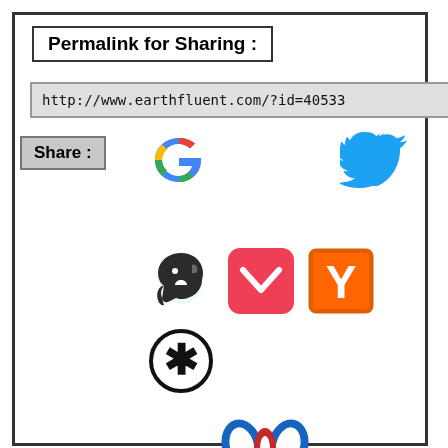Permalink for Sharing :
http://www.earthfluent.com/?id=40533
[Figure (infographic): Share label with social media icons: Google, Twitter, Evernote, Pocket, Hacker News (Y), Asterisk/StatusNet, Miiverse/Wings logo, Gmail]
Share :